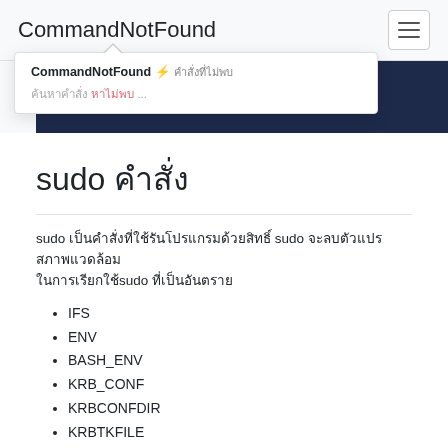CommandNotFound
[Figure (screenshot): Dropdown tooltip showing 'CommandNotFound ⚡ [Thai text]' with subtitle in Thai including red highlighted text]
[Figure (screenshot): Dark navy blue banner/hero image area]
sudo [Thai characters]
sudo [Thai text describing sudo command usage]
IFS
ENV
BASH_ENV
KRB_CONF
KRBCONFDIR
KRBTKFILE
KRB5_CONFIG